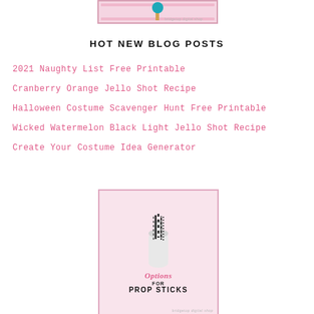[Figure (photo): Top partial image from bridgetop digital shop - photo prop on stick with pink border]
HOT NEW BLOG POSTS
2021 Naughty List Free Printable
Cranberry Orange Jello Shot Recipe
Halloween Costume Scavenger Hunt Free Printable
Wicked Watermelon Black Light Jello Shot Recipe
Create Your Costume Idea Generator
[Figure (photo): Options for Prop Sticks - bottle of black and white striped straws on pink background, bridgetop digital shop logo]